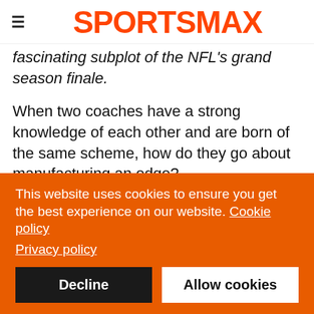SPORTSMAX
fascinating subplot of the NFL's grand season finale.
When two coaches have a strong knowledge of each other and are born of the same scheme, how do they go about manufacturing an edge?
"It becomes a little bit of a game of chess," former NFL wide receiver Andrew Hawkins told Stats Perform.
"Typically I give the upper hand to the Mr Miyagi of the two because you can teach a system, you can put somebody in the
This website uses cookies to ensure you get the best experience on our website. Cookie policy
Privacy policy
Decline
Allow cookies